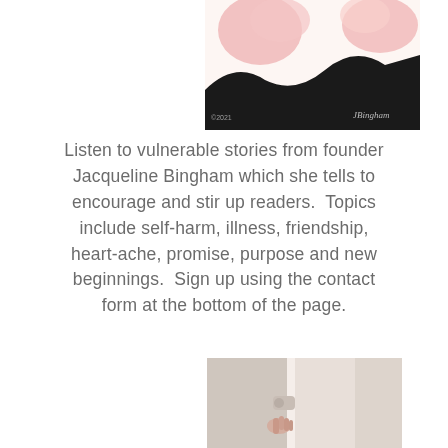[Figure (illustration): Abstract illustration with black silhouette shape and pink organic blobs on white background, with copyright 2021 mark and JBingham signature]
Listen to vulnerable stories from founder Jacqueline Bingham which she tells to encourage and stir up readers.  Topics include self-harm, illness, friendship, heart-ache, promise, purpose and new beginnings.  Sign up using the contact form at the bottom of the page.
[Figure (photo): Photo of a hand reaching up near a white door frame or wall panel]